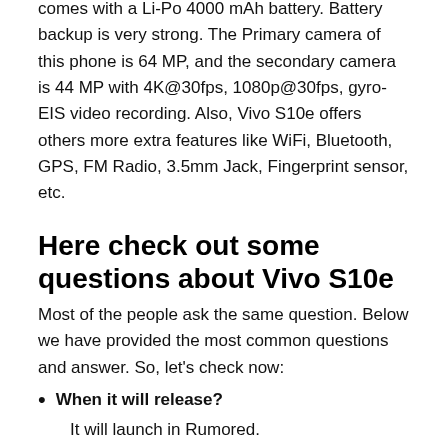comes with a Li-Po 4000 mAh battery. Battery backup is very strong. The Primary camera of this phone is 64 MP, and the secondary camera is 44 MP with 4K@30fps, 1080p@30fps, gyro-EIS video recording. Also, Vivo S10e offers others more extra features like WiFi, Bluetooth, GPS, FM Radio, 3.5mm Jack, Fingerprint sensor, etc.
Here check out some questions about Vivo S10e
Most of the people ask the same question. Below we have provided the most common questions and answer. So, let's check now:
When it will release?
It will launch in Rumored.
What is the price of the Vivo S10e?
The price of the Vivo S10e is BDT 35,000.
How much RAM and ROM does it contain?